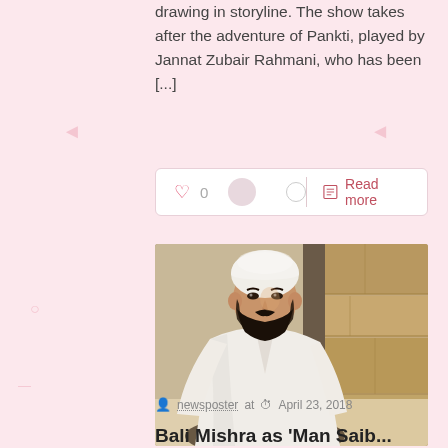drawing in storyline. The show takes after the adventure of Pankti, played by Jannat Zubair Rahmani, who has been [...]
♡ 0   Read more
[Figure (photo): Photo of a man wearing a white turban/cap and white kurta (traditional clothing), with a black beard, seated in front of a stone wall with a dark pillar. The image appears to be from a TV show.]
newsposter at  April 23, 2018
Bali Mishra as 'Man Saib...